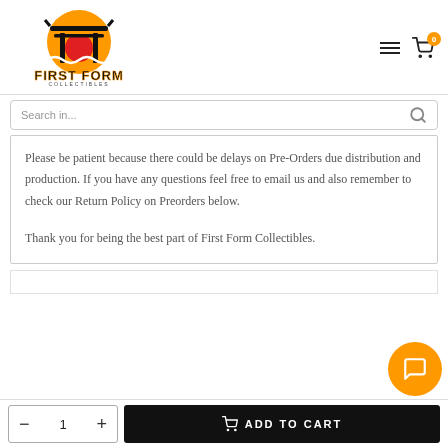[Figure (logo): First Form Collectibles logo with torii gate and wave graphic]
Search in...
Please be patient because there could be delays on Pre-Orders due distribution and production. If you have any questions feel free to email us and also remember to check our Return Policy on Preorders below.
Thank you for being the best part of First Form Collectibles.
ADD TO CART